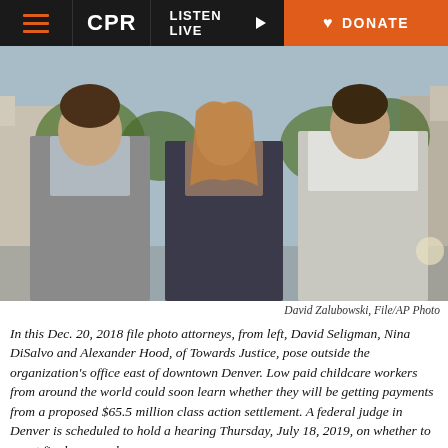CPR | LISTEN LIVE | DONATE
[Figure (photo): Three attorneys — David Seligman, Nina DiSalvo and Alexander Hood — of Towards Justice, posing outside the organization's office east of downtown Denver. Dec. 20, 2018 file photo.]
David Zalubowski, File/AP Photo
In this Dec. 20, 2018 file photo attorneys, from left, David Seligman, Nina DiSalvo and Alexander Hood, of Towards Justice, pose outside the organization's office east of downtown Denver. Low paid childcare workers from around the world could soon learn whether they will be getting payments from a proposed $65.5 million class action settlement. A federal judge in Denver is scheduled to hold a hearing Thursday, July 18, 2019, on whether to grant final approval